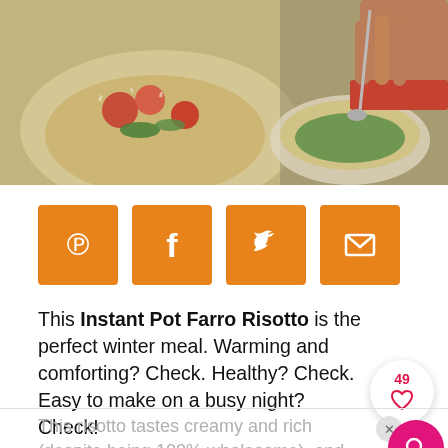[Figure (photo): Food photo showing risotto dish with tomatoes and herbs on the left, and a hand holding a spoon over a bowl on the right]
[Figure (infographic): Four orange square social sharing buttons: Pinterest (P), Facebook (f), Twitter bird, and Email envelope icons]
This Instant Pot Farro Risotto is the perfect winter meal. Warming and comforting? Check. Healthy? Check. Easy to make on a busy night? Check!
This version relies on the the Instant Pot to take care of most of the cooking, which means you dont have to stand over the stove constantly stirring 30 minutes!
This risotto tastes creamy and rich (despite being 100% wholesome), and the saucy cherry tomato